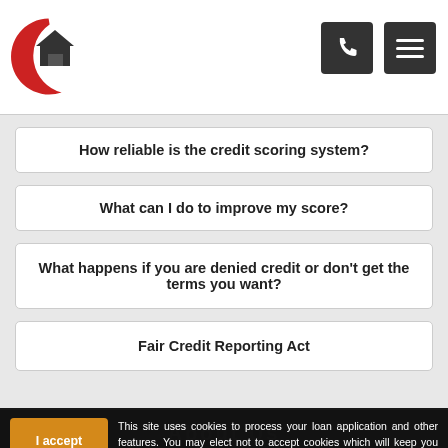Champion Home Loans - Header with logo and navigation icons
How reliable is the credit scoring system?
What can I do to improve my score?
What happens if you are denied credit or don't get the terms you want?
Fair Credit Reporting Act
This site uses cookies to process your loan application and other features. You may elect not to accept cookies which will keep you from submitting a loan application. By your clicked consent/acceptance you acknowledge and allow the use of cookies. By clicking I Accept you acknowledge you have read and understand Champion Home Loans Inc's Privacy Policy.
About Us
We've been helping customers afford the home of their dreams for many years and we love what we do.
Company NMLS: 1570362
www.nmlsconsumeraccess.org